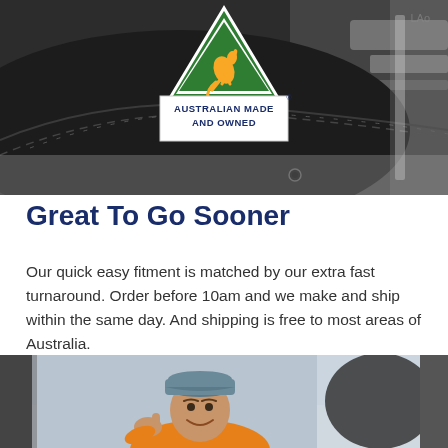[Figure (photo): Close-up photo of black leather car seat cover with Australian Made and Owned badge/logo overlaid at top center]
Great To Go Sooner
Our quick easy fitment is matched by our extra fast turnaround. Order before 10am and we make and ship within the same day. And shipping is free to most areas of Australia.
[Figure (photo): Photo of smiling young man in grey cap sitting in car, giving thumbs up, visible through car window]